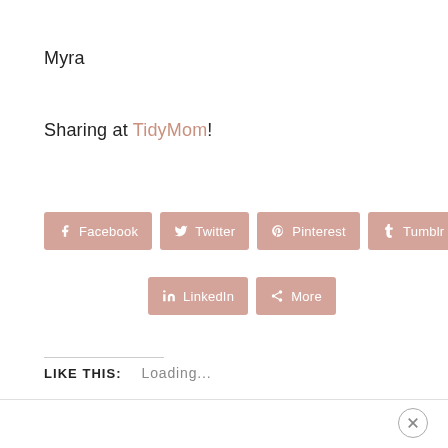Myra
Sharing at TidyMom!
[Figure (other): Social share buttons row 1: Facebook, Twitter, Pinterest, Tumblr]
[Figure (other): Social share buttons row 2: LinkedIn, More]
LIKE THIS:
Loading...